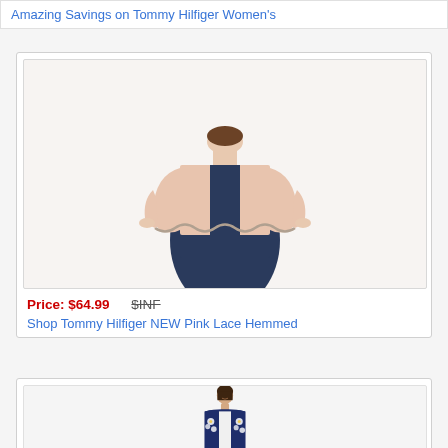Amazing Savings on Tommy Hilfiger Women's
[Figure (photo): Model wearing a pink lace hemmed cropped cardigan over a navy blue dress, cropped view showing neck to mid-thigh]
Price: $64.99   $INF
Shop Tommy Hilfiger NEW Pink Lace Hemmed
[Figure (photo): Model wearing a navy blue floral embroidered open cardigan over a white top, cropped view showing neck to chest area]